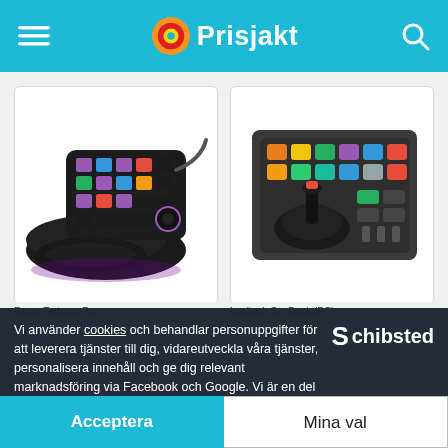Prisjakt
[Figure (photo): Razer gaming keypad with RGB lighting and wrist rest]
[Figure (photo): Logitech flight panel/button box controller with joystick and colored buttons]
Vi använder cookies och behandlar personuppgifter för att leverera tjänster till dig, vidareutveckla våra tjänster, personalisera innehåll och ge dig relevant marknadsföring via Facebook och Google. Vi är en del av Schibsted. Schibsted och deras annonspartners är ansvariga för leveransen och personaliseringen av annonser på Prisjakt och andra Schibstedsajter.
1 351 kr
1 488 kr
Acceptera
Mina val